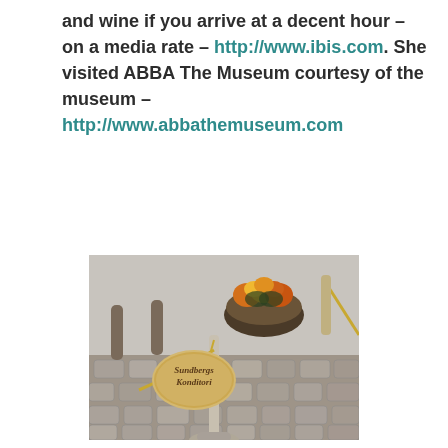and wine if you arrive at a decent hour – on a media rate – http://www.ibis.com. She visited ABBA The Museum courtesy of the museum – http://www.abbathemuseum.com
[Figure (photo): Outdoor photo of a cobblestone street showing a pole-mounted oval sign reading 'Sundbergs Konditori' hanging from a velvet rope stanchion, with a large floral arrangement bowl in the background.]